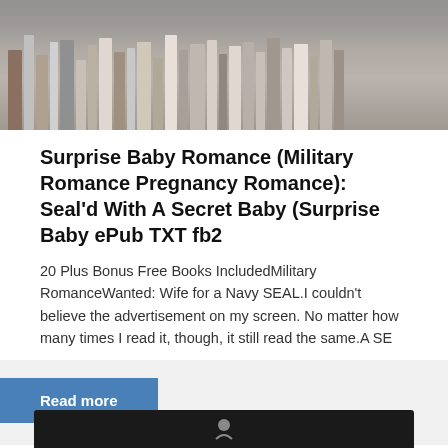[Figure (photo): A photograph of a bookshelf filled with books, shown with a grey overlay]
Surprise Baby Romance (Military Romance Pregnancy Romance): Seal'd With A Secret Baby (Surprise Baby ePub TXT fb2
20 Plus Bonus Free Books IncludedMilitary RomanceWanted: Wife for a Navy SEAL.I couldn't believe the advertisement on my screen. No matter how many times I read it, though, it still read the same.A SE
Read more
[Figure (other): Bottom dark bar with small icon, partially visible at bottom of page]